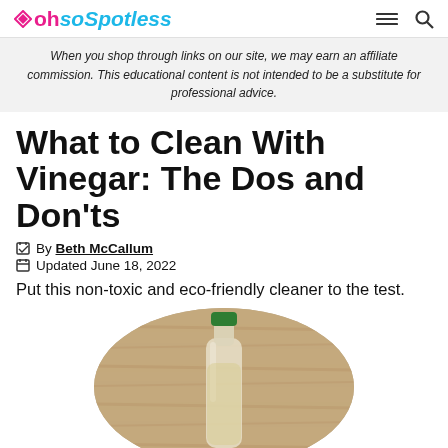ohsoSpotless
When you shop through links on our site, we may earn an affiliate commission. This educational content is not intended to be a substitute for professional advice.
What to Clean With Vinegar: The Dos and Don'ts
By Beth McCallum
Updated June 18, 2022
Put this non-toxic and eco-friendly cleaner to the test.
[Figure (photo): A glass bottle with a green cap containing vinegar, sitting on a wooden surface, shown in a circular crop.]